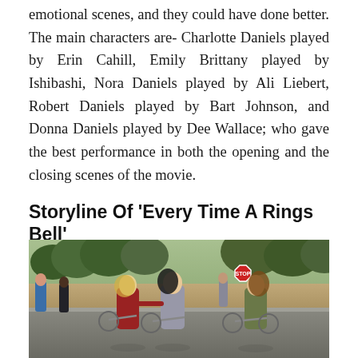emotional scenes, and they could have done better. The main characters are- Charlotte Daniels played by Erin Cahill, Emily Brittany played by Ishibashi, Nora Daniels played by Ali Liebert, Robert Daniels played by Bart Johnson, and Donna Daniels played by Dee Wallace; who gave the best performance in both the opening and the closing scenes of the movie.
Storyline Of 'Every Time A Rings Bell'
[Figure (photo): Three women riding bicycles on a street. The woman on the left wears a red jacket and has blonde hair. The middle woman has dark hair and wears a grey plaid blazer. The woman on the right has wavy brown hair and wears an olive green jacket. There are other people walking in the background, trees, and a stop sign visible.]